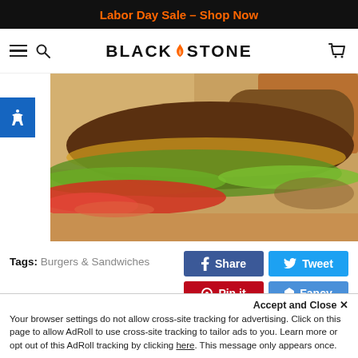Labor Day Sale – Shop Now
[Figure (logo): Blackstone logo with flame icon and hamburger/search/cart navigation icons]
[Figure (photo): Close-up photo of a burger with lettuce, tomato, and meat patty on a wooden surface]
Tags: Burgers & Sandwiches
[Figure (screenshot): Social sharing buttons: Share (Facebook, blue), Tweet (Twitter, light blue), Pin it (Pinterest, red), Fancy (blue)]
Accept and Close ✕
Your browser settings do not allow cross-site tracking for advertising. Click on this page to allow AdRoll to use cross-site tracking to tailor ads to you. Learn more or opt out of this AdRoll tracking by clicking here. This message only appears once.